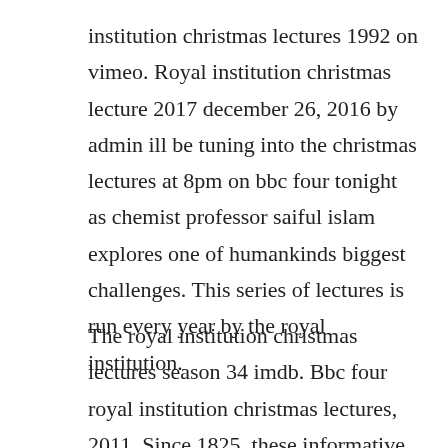institution christmas lectures 1992 on vimeo. Royal institution christmas lecture 2017 december 26, 2016 by admin ill be tuning into the christmas lectures at 8pm on bbc four tonight as chemist professor saiful islam explores one of humankinds biggest challenges. This series of lectures is run every year by the royal institution.
The royal institution christmas lectures season 34 imdb. Bbc four royal institution christmas lectures, 2011. Since 1825, these informative lectures have educated youths on scientific